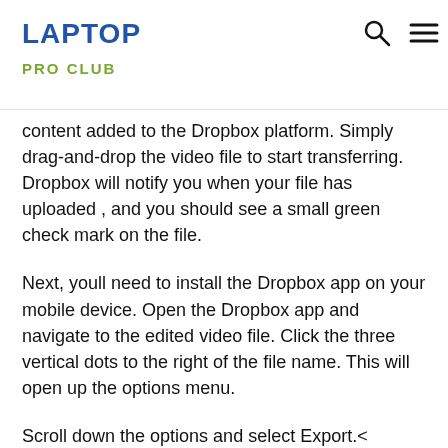LAPTOP PRO CLUB
content added to the Dropbox platform. Simply drag-and-drop the video file to start transferring. Dropbox will notify you when your file has uploaded , and you should see a small green check mark on the file.
Next, youll need to install the Dropbox app on your mobile device. Open the Dropbox app and navigate to the edited video file. Click the three vertical dots to the right of the file name. This will open up the options menu.
Scroll down the options and select Export.<